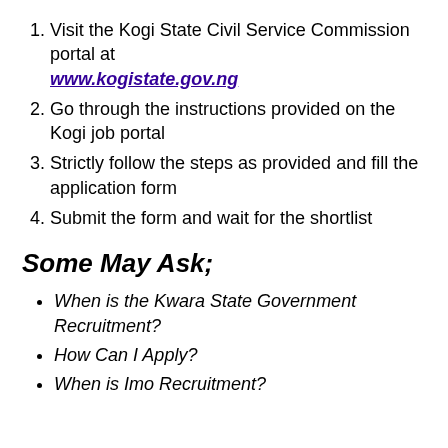Visit the Kogi State Civil Service Commission portal at www.kogistate.gov.ng
Go through the instructions provided on the Kogi job portal
Strictly follow the steps as provided and fill the application form
Submit the form and wait for the shortlist
Some May Ask;
When is the Kwara State Government Recruitment?
How Can I Apply?
When is Imo Recruitment?